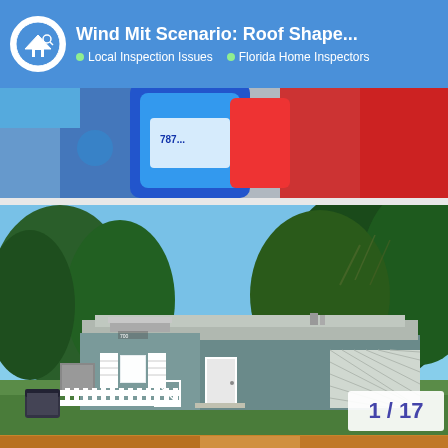Wind Mit Scenario: Roof Shape... | Local Inspection Issues | Florida Home Inspectors
[Figure (photo): Top banner strip showing colorful laundry detergent bottles — blue and red containers]
[Figure (photo): Photograph of a single-story Florida home with a flat/hip roof, gray siding, white shutters, white picket fence, green trash bin, and large oak trees with Spanish moss in background]
1 / 17
[Figure (photo): Bottom strip showing partial view of another image (brown/orange tones)]